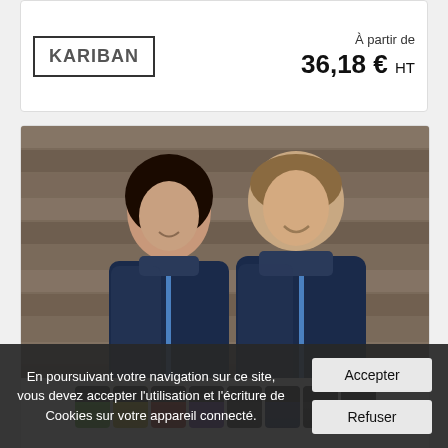[Figure (logo): Kariban brand logo in bordered box]
À partir de 36,18 € HT
[Figure (photo): Two people wearing navy blue softshell jackets with blue zipper accents, standing against a wooden wall background. Below the main photo are color swatch thumbnails showing various jacket colors including green, yellow, red, purple, black, dark blue, and black.]
Veste Softshell Homme 2...
[Figure (logo): Result Core brand logo - red Result text on top, white core text on dark background below]
À partir de 25,62 € HT
En poursuivant votre navigation sur ce site, vous devez accepter l'utilisation et l'écriture de Cookies sur votre appareil connecté.